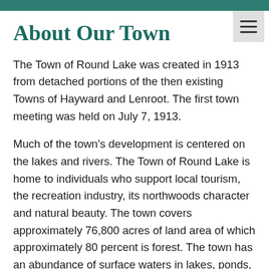About Our Town
The Town of Round Lake was created in 1913 from detached portions of the then existing Towns of Hayward and Lenroot. The first town meeting was held on July 7, 1913.
Much of the town's development is centered on the lakes and rivers. The Town of Round Lake is home to individuals who support local tourism, the recreation industry, its northwoods character and natural beauty. The town covers approximately 76,800 acres of land area of which approximately 80 percent is forest. The town has an abundance of surface waters in lakes, ponds, rivers and streams. In all, the town has 140 miles of shoreline, covering approximately 5,780 acres, and 70